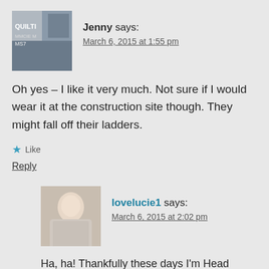[Figure (photo): Avatar photo of Jenny showing a storefront/quilt shop window]
Jenny says:
March 6, 2015 at 1:55 pm
Oh yes – I like it very much. Not sure if I would wear it at the construction site though. They might fall off their ladders.
★ Like
Reply
[Figure (photo): Avatar photo of lovelucie1 showing a person in a light-colored jacket]
lovelucie1 says:
March 6, 2015 at 2:02 pm
Ha, ha! Thankfully these days I'm Head Office based with just occasional site visits!